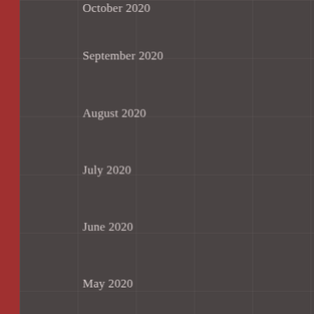October 2020
September 2020
August 2020
July 2020
June 2020
May 2020
April 2020
March 2020
February 2020
January 2020
December 2019
November 2019
October 2019
July 2019